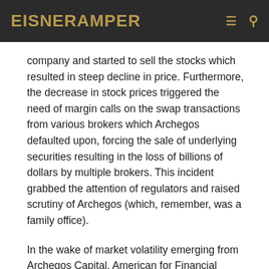EisnerAmper
company and started to sell the stocks which resulted in steep decline in price. Furthermore, the decrease in stock prices triggered the need of margin calls on the swap transactions from various brokers which Archegos defaulted upon, forcing the sale of underlying securities resulting in the loss of billions of dollars by multiple brokers. This incident grabbed the attention of regulators and raised scrutiny of Archegos (which, remember, was a family office).
In the wake of market volatility emerging from Archegos Capital, American for Financial Reform (AFR), a nonprofit which lobbies for stricter Wall Street regulation, wrote a letter to the SEC dated